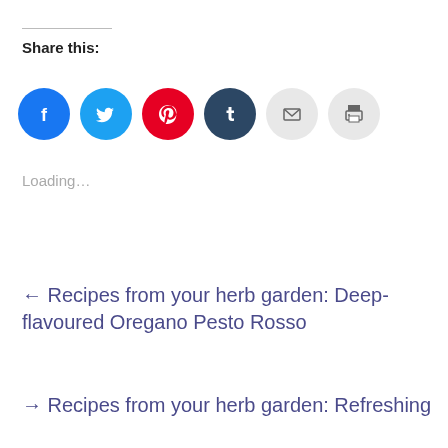Share this:
[Figure (infographic): Six social share icon circles: Facebook (blue), Twitter (light blue), Pinterest (red), Tumblr (dark blue), Email (light gray), Print (light gray)]
Loading...
← Recipes from your herb garden: Deep-flavoured Oregano Pesto Rosso
→ Recipes from your herb garden: Refreshing